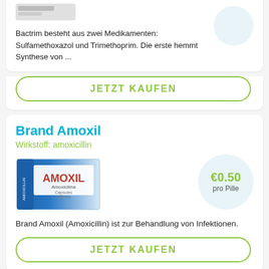[Figure (photo): Partial view of a medicine box at the top of the page (cropped)]
Bactrim besteht aus zwei Medikamenten: Sulfamethoxazol und Trimethoprim. Die erste hemmt Synthese von ...
JETZT KAUFEN
Brand Amoxil
Wirkstoff: amoxicillin
[Figure (photo): Amoxil medicine box — blue and white packaging with red AMOXIL logo]
€0.50
pro Pille
Brand Amoxil (Amoxicillin) ist zur Behandlung von Infektionen.
JETZT KAUFEN
Biaxin
Wirkstoff: clarithromycin
€2.10